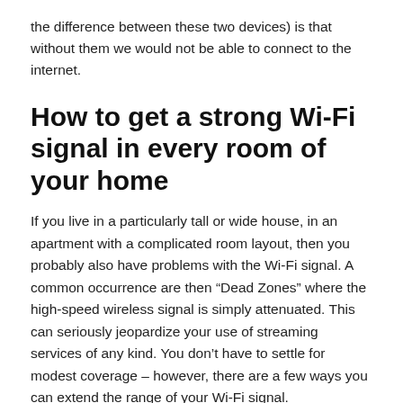the difference between these two devices) is that without them we would not be able to connect to the internet.
How to get a strong Wi-Fi signal in every room of your home
If you live in a particularly tall or wide house, in an apartment with a complicated room layout, then you probably also have problems with the Wi-Fi signal. A common occurrence are then “Dead Zones” where the high-speed wireless signal is simply attenuated. This can seriously jeopardize your use of streaming services of any kind. You don’t have to settle for modest coverage – however, there are a few ways you can extend the range of your Wi-Fi signal.
How to boost your...